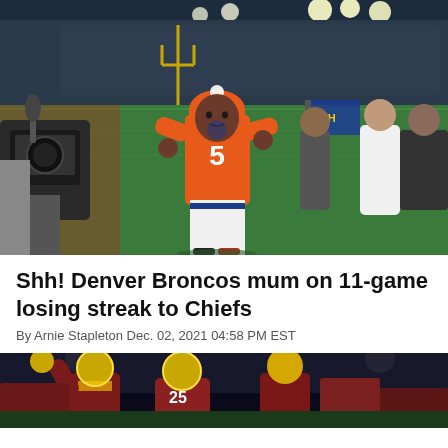[Figure (photo): Denver Broncos quarterback wearing orange jersey number 5 with a beanie hat jogging on the field after a game, with a cameraman in the foreground and fans/stadium in the background]
Shh! Denver Broncos mum on 11-game losing streak to Chiefs
By Arnie Stapleton Dec. 02, 2021 04:58 PM EST
[Figure (photo): Football players in maroon and gold uniforms celebrating on the field at night with stadium lights and crowd in background]